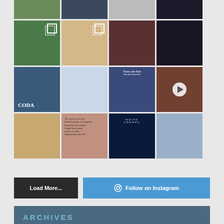[Figure (photo): Instagram photo grid showing 4 rows of 4 photos each (partially visible rows), including photos of people, cars, snow scenes, book covers, art gallery, and various lifestyle images]
Load More...
Follow on Instagram
ARCHIVES